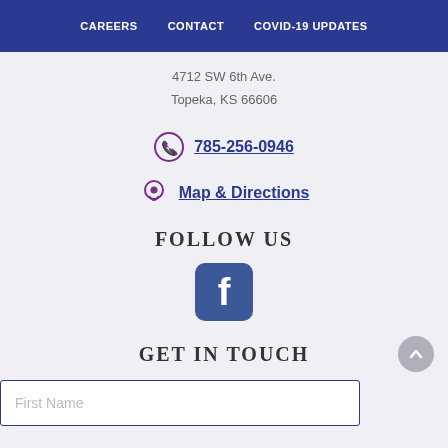CAREERS   CONTACT   COVID-19 UPDATES
4712 SW 6th Ave.
Topeka, KS 66606
785-256-0946
Map & Directions
FOLLOW US
[Figure (logo): Facebook logo icon - blue rounded square with white letter f]
GET IN TOUCH
First Name